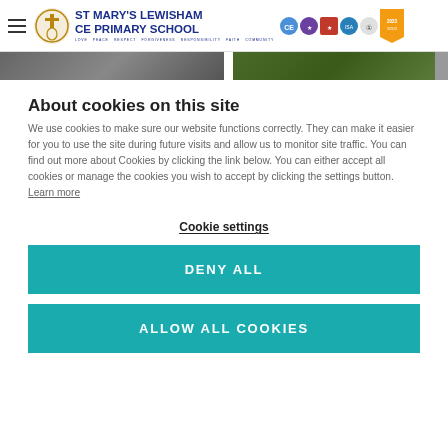ST MARY'S LEWISHAM CE PRIMARY SCHOOL — Love Peace Respect Forgiveness Responsibility Faith Community
[Figure (photo): Two partial photo strips showing outdoor school activities]
About cookies on this site
We use cookies to make sure our website functions correctly. They can make it easier for you to use the site during future visits and allow us to monitor site traffic. You can find out more about Cookies by clicking the link below. You can either accept all cookies or manage the cookies you wish to accept by clicking the settings button. Learn more
Cookie settings
DENY ALL
ALLOW ALL COOKIES